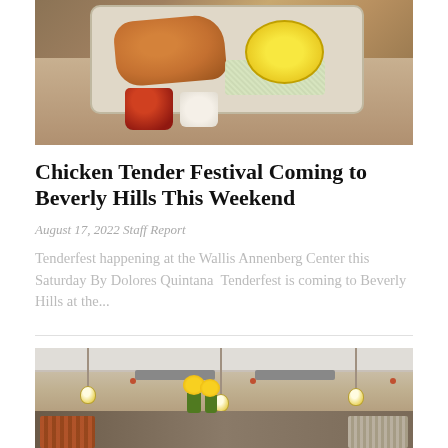[Figure (photo): Top-down view of food items including fried chicken tender and yellow sauce on a tray with a cup of dipping sauce]
Chicken Tender Festival Coming to Beverly Hills This Weekend
August 17, 2022 Staff Report
Tenderfest happening at the Wallis Annenberg Center this Saturday By Dolores Quintana  Tenderfest is coming to Beverly Hills at the...
[Figure (photo): Interior of a restaurant with pendant light fixtures hanging from the ceiling and a counter area with decorative flowers]